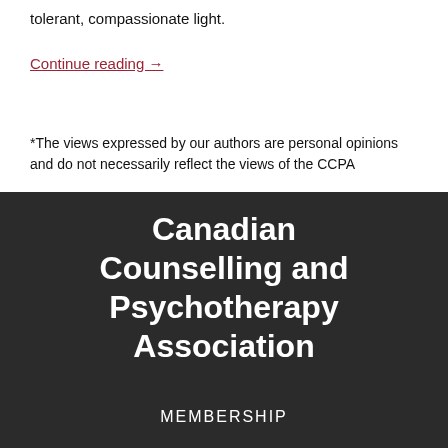tolerant, compassionate light.
Continue reading →
*The views expressed by our authors are personal opinions and do not necessarily reflect the views of the CCPA
Canadian Counselling and Psychotherapy Association
MEMBERSHIP